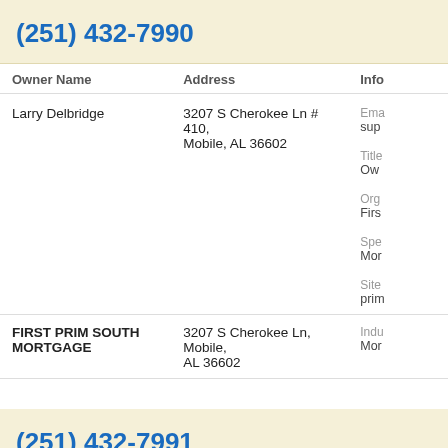(251) 432-7990
| Owner Name | Address | Info |
| --- | --- | --- |
| Larry Delbridge | 3207 S Cherokee Ln # 410, Mobile, AL 36602 | Email: sup...
Title: Own...
Org: Firs...
Specialty: Mor...
Site: prim... |
| FIRST PRIM SOUTH MORTGAGE | 3207 S Cherokee Ln, Mobile, AL 36602 | Industry: Mor... |
(251) 432-7991